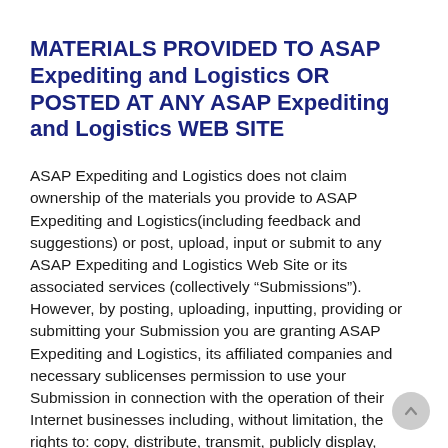MATERIALS PROVIDED TO ASAP Expediting and Logistics OR POSTED AT ANY ASAP Expediting and Logistics WEB SITE
ASAP Expediting and Logistics does not claim ownership of the materials you provide to ASAP Expediting and Logistics(including feedback and suggestions) or post, upload, input or submit to any ASAP Expediting and Logistics Web Site or its associated services (collectively “Submissions”). However, by posting, uploading, inputting, providing or submitting your Submission you are granting ASAP Expediting and Logistics, its affiliated companies and necessary sublicenses permission to use your Submission in connection with the operation of their Internet businesses including, without limitation, the rights to: copy, distribute, transmit, publicly display, publicly perform, reproduce, edit, translate and reformat